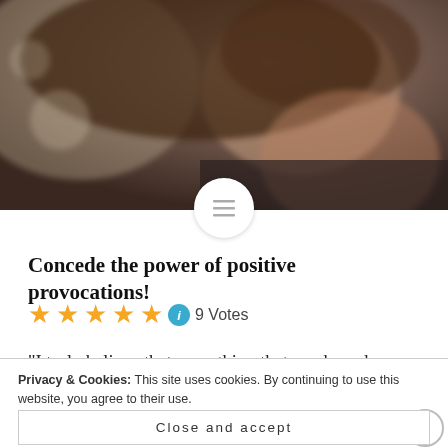[Figure (photo): Blurred close-up photo of a woman with dark curly hair against a light background, serving as a hero/banner image at the top of the page.]
Concede the power of positive provocations!
★★★★★ ℹ 9 Votes
“I truly believe that everything that we do and everyone that we meet is put in our path for a purpose. There are no accidents: we’re all teachers – if we’re willing to pay attention
Privacy & Cookies: This site uses cookies. By continuing to use this website, you agree to their use.
To find out more, including how to control cookies, see here: Cookie Policy
Close and accept